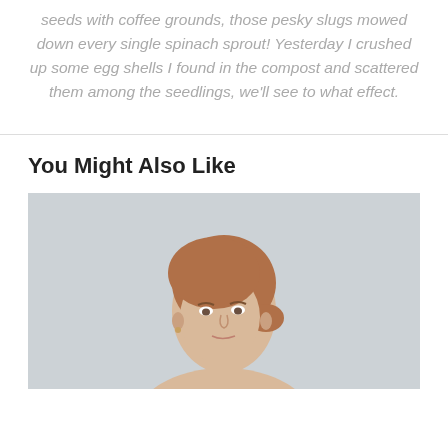seeds with coffee grounds, those pesky slugs mowed down every single spinach sprout! Yesterday I crushed up some egg shells I found in the compost and scattered them among the seedlings, we'll see to what effect.
You Might Also Like
[Figure (photo): A woman with auburn hair in a bun, looking slightly upward, photographed from the shoulders up against a light grey background.]